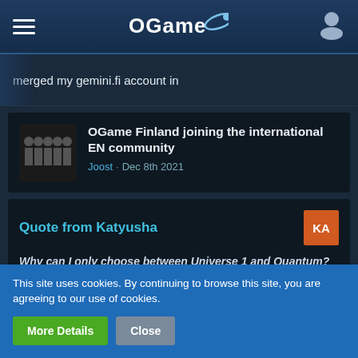OGame
merged my gemini.fi account in
OGame Finland joining the international EN community
Joost · Dec 8th 2021
Quote from Katyusha
Why can I only choose between Universe 1 and Quantum? Where is Bellatrix, Quasar and Sombrero?
I'm having the same with my Hydra.fi account 😎
This site uses cookies. By continuing to browse this site, you are agreeing to our use of cookies.